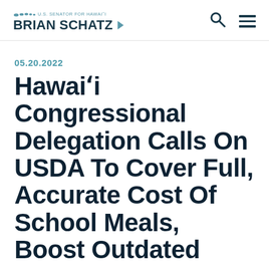U.S. Senator for Hawai'i – Brian Schatz
05.20.2022
Hawai'i Congressional Delegation Calls On USDA To Cover Full, Accurate Cost Of School Meals, Boost Outdated